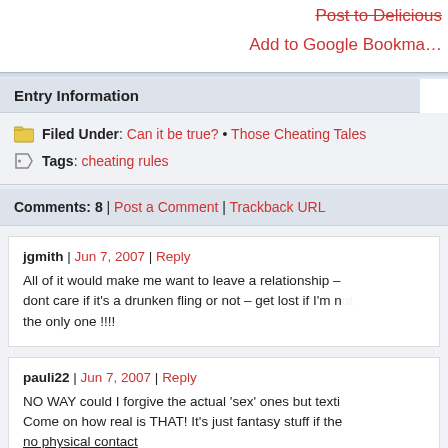Add to Google Bookmarks
Entry Information
Filed Under: Can it be true? • Those Cheating Tales
Tags: cheating rules
Comments: 8  |  Post a Comment  |  Trackback URL
jgmith | Jun 7, 2007 | Reply
All of it would make me want to leave a relationship – dont care if it's a drunken fling or not – get lost if I'm not the only one !!!!
pauli22 | Jun 7, 2007 | Reply
NO WAY could I forgive the actual 'sex' ones but texti... Come on how real is THAT! It's just fantasy stuff if the... no physical contact...